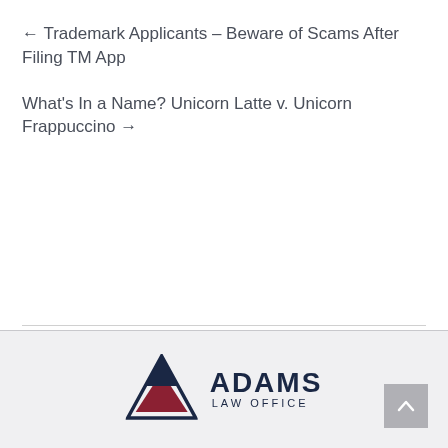← Trademark Applicants – Beware of Scams After Filing TM App
What's In a Name? Unicorn Latte v. Unicorn Frappuccino →
[Figure (logo): Adams Law Office logo with triangle/mountain graphic in navy and dark red, company name ADAMS LAW OFFICE in dark navy text]